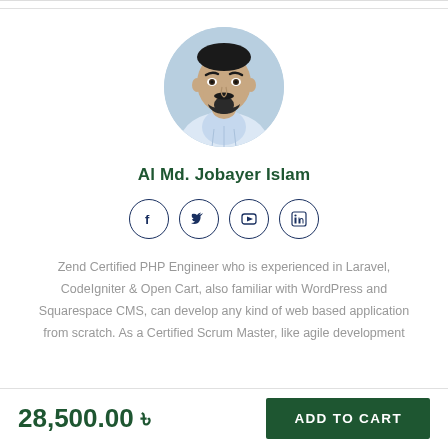[Figure (photo): Profile photo of Al Md. Jobayer Islam, a man with a beard wearing a light blue checked shirt, shown in a circular crop.]
Al Md. Jobayer Islam
[Figure (illustration): Four circular social media icon buttons: Facebook, Twitter, YouTube, LinkedIn — outlined circles with dark blue icons inside.]
Zend Certified PHP Engineer who is experienced in Laravel, CodeIgniter & Open Cart, also familiar with WordPress and Squarespace CMS, can develop any kind of web based application from scratch. As a Certified Scrum Master, like agile development
28,500.00 ৳
ADD TO CART